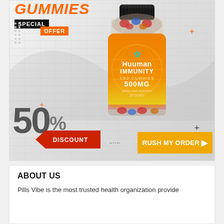[Figure (photo): Advertisement for Huuman Immunity CBD Gummies 500MG showing a product bottle with colorful gummies. Text overlay reads 'GUMMIES SPECIAL OFFER 50% DISCOUNT RUSH MY ORDER'. Orange and dark branding on white brick background.]
ABOUT US
Pills Vibe is the most trusted health organization provide